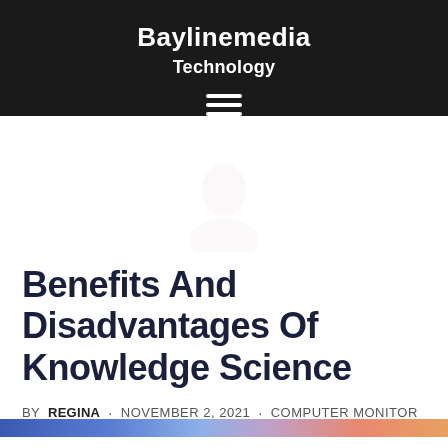Baylinemedia Technology
[Figure (illustration): Hamburger menu icon (three horizontal white lines) in dark header]
[Figure (illustration): Faint pink person/user avatar silhouette icon centered on white background]
Benefits And Disadvantages Of Knowledge Science
BY REGINA · NOVEMBER 2, 2021 · COMPUTER MONITOR
[Figure (photo): Colorful image strip at bottom of page, partially visible]